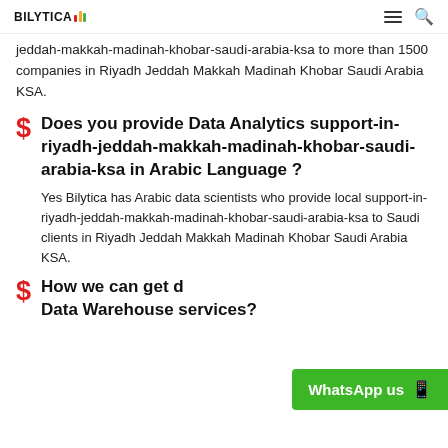BILYTICA [logo with bar chart icons]
jeddah-makkah-madinah-khobar-saudi-arabia-ksa to more than 1500 companies in Riyadh Jeddah Makkah Madinah Khobar Saudi Arabia KSA.
Does you provide Data Analytics support-in-riyadh-jeddah-makkah-madinah-khobar-saudi-arabia-ksa in Arabic Language ?
Yes Bilytica has Arabic data scientists who provide local support-in-riyadh-jeddah-makkah-madinah-khobar-saudi-arabia-ksa to Saudi clients in Riyadh Jeddah Makkah Madinah Khobar Saudi Arabia KSA.
How we can get Data Warehouse services?